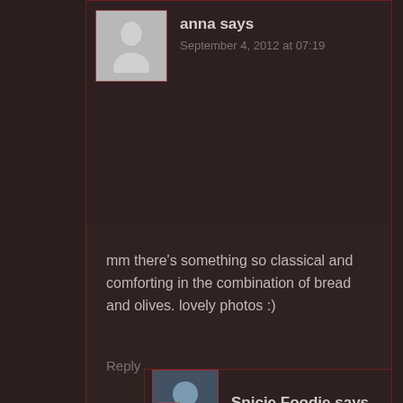[Figure (illustration): Gray placeholder avatar silhouette for user 'anna']
anna says
September 4, 2012 at 07:19
mm there’s something so classical and comforting in the combination of bread and olives. lovely photos :)
Reply
[Figure (photo): Profile photo of Spicie Foodie commenter]
Spicie Foodie says
September 4, 2012 at 17:12